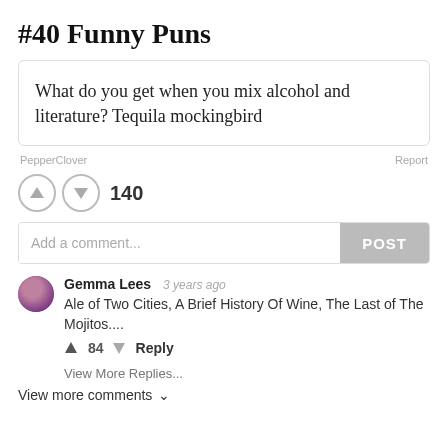#40 Funny Puns
What do you get when you mix alcohol and literature? Tequila mockingbird
PepperClover
Report
140
Add a comment...
POST
Gemma Lees  3 years ago
Ale of Two Cities, A Brief History Of Wine, The Last of The Mojitos....
84  Reply
View More Replies...
View more comments